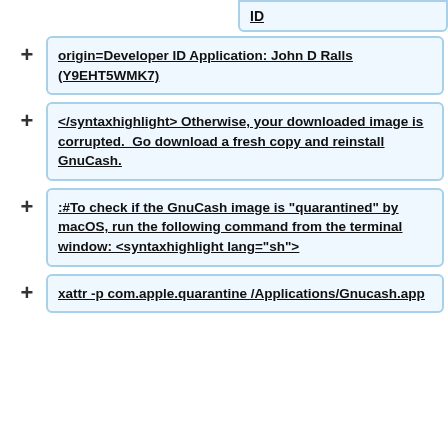ID
origin=Developer ID Application: John D Ralls (Y9EHT5WMK7)
</syntaxhighlight> Otherwise, your downloaded image is corrupted.  Go download a fresh copy and reinstall GnuCash.
:#To check if the GnuCash image is "quarantined" by macOS, run the following command from the terminal window: <syntaxhighlight lang="sh">
xattr -p com.apple.quarantine /Applications/Gnucash.app